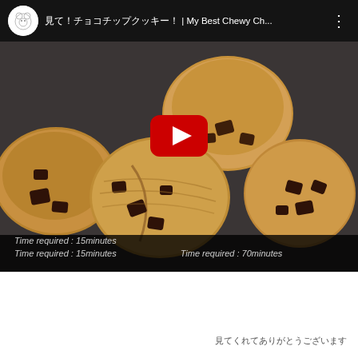[Figure (screenshot): YouTube video thumbnail showing chocolate chip cookies on a dark surface with a red play button overlay. Video title shows Japanese characters followed by 'My Best Chewy Ch...' with channel icon on the left. Bottom bar shows 'Time required : 15minutes' on the left and 'Time required : 70minutes' on the right.]
Time required : 15minutes    Time required : 70minutes
見てくれてありがとうございます